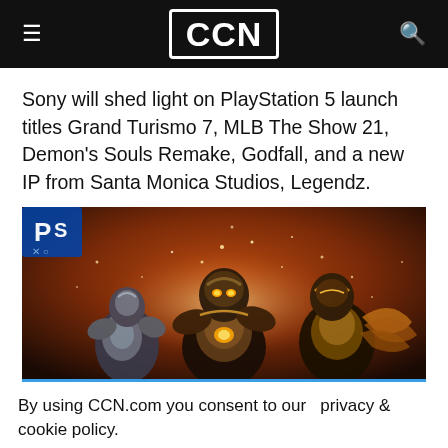CCN
Sony will shed light on PlayStation 5 launch titles Grand Turismo 7, MLB The Show 21, Demon's Souls Remake, Godfall, and a new IP from Santa Monica Studios, Legendz.
[Figure (photo): Screenshot from Godfall video game showing armored characters with glowing effects and the PlayStation logo visible in the top left corner.]
By using CCN.com you consent to our  privacy & cookie policy.
Continue